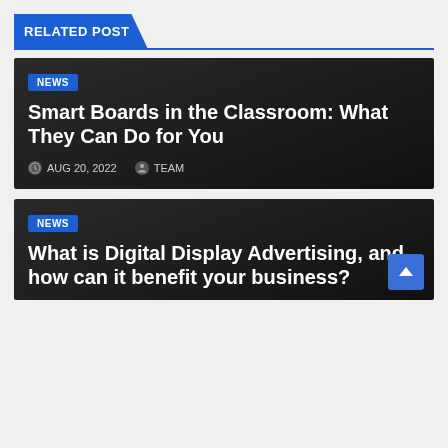RELATED POST
[Figure (screenshot): Dark card for article: Smart Boards in the Classroom: What They Can Do for You. Category badge: NEWS. Date: AUG 20, 2022. Author: TEAM.]
Smart Boards in the Classroom: What They Can Do for You
AUG 20, 2022   TEAM
[Figure (screenshot): Dark card for article: What is Digital Display Advertising, and how can it benefit your business? Category badge: NEWS.]
What is Digital Display Advertising, and how can it benefit your business?